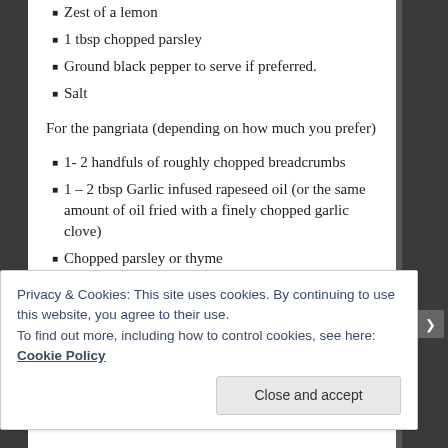Zest of a lemon
1 tbsp chopped parsley
Ground black pepper to serve if preferred.
Salt
For the pangriata (depending on how much you prefer)
1- 2 handfuls of roughly chopped breadcrumbs
1 – 2 tbsp Garlic infused rapeseed oil (or the same amount of oil fried with a finely chopped garlic clove)
Chopped parsley or thyme
sea salt
Method:
Privacy & Cookies: This site uses cookies. By continuing to use this website, you agree to their use.
To find out more, including how to control cookies, see here: Cookie Policy